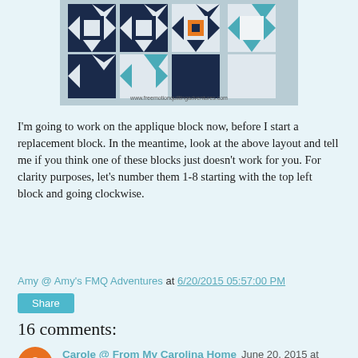[Figure (photo): Photo of quilt blocks arranged in a layout pattern showing star and geometric designs in navy, teal, and orange colors. Website watermark: www.freemotionquiltingadventures.com]
I'm going to work on the applique block now, before I start a replacement block. In the meantime, look at the above layout and tell me if you think one of these blocks just doesn't work for you. For clarity purposes, let's number them 1-8 starting with the top left block and going clockwise.
Amy @ Amy's FMQ Adventures at 6/20/2015 05:57:00 PM
Share
16 comments:
Carole @ From My Carolina Home June 20, 2015 at 7:10 PM
They all look good to me! If I had to pick one thing to change, it would not be the one you highlighted, it is #7. All the other